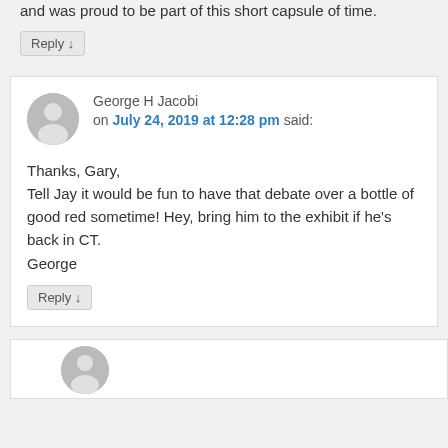and was proud to be part of this short capsule of time.
Reply ↓
George H Jacobi
on July 24, 2019 at 12:28 pm said:
Thanks, Gary,
Tell Jay it would be fun to have that debate over a bottle of good red sometime! Hey, bring him to the exhibit if he's back in CT.
George
Reply ↓